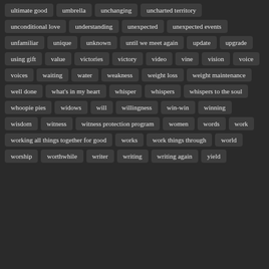ultimate good
umbrella
unchanging
uncharted territory
unconditional love
understanding
unexpected
unexpected events
unfamiliar
unique
unknown
until we meet again
update
upgrade
using gift
value
victories
victory
video
vine
vision
voice
voices
waiting
water
weakness
weight loss
weight maintenance
well done
what's in my heart
whisper
whispers
whispers to the soul
whoopie pies
widows
will
willingness
win-win
winning
wisdom
witness
witness protection program
women
words
work
working all things together for good
works
work things through
world
worship
worthwhile
writer
writing
writing again
yield